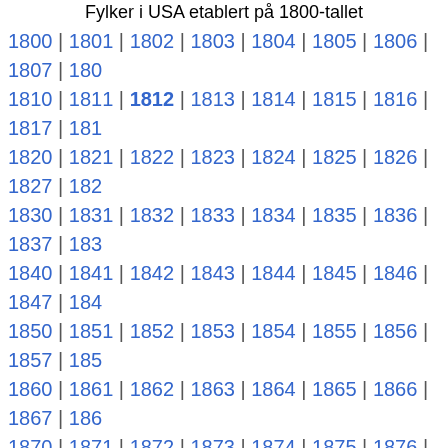Fylker i USA etablert på 1800-tallet
1800 | 1801 | 1802 | 1803 | 1804 | 1805 | 1806 | 1807 | 180…
1810 | 1811 | 1812 | 1813 | 1814 | 1815 | 1816 | 1817 | 181…
1820 | 1821 | 1822 | 1823 | 1824 | 1825 | 1826 | 1827 | 182…
1830 | 1831 | 1832 | 1833 | 1834 | 1835 | 1836 | 1837 | 183…
1840 | 1841 | 1842 | 1843 | 1844 | 1845 | 1846 | 1847 | 184…
1850 | 1851 | 1852 | 1853 | 1854 | 1855 | 1856 | 1857 | 185…
1860 | 1861 | 1862 | 1863 | 1864 | 1865 | 1866 | 1867 | 186…
1870 | 1871 | 1872 | 1873 | 1874 | 1875 | 1876 | 1877 | 187…
1880 | 1881 | 1882 | 1883 | 1884 | 1885 | 1886 | 1887 | 188…
1890 | 1891 | 1892 | 1893 | 1894 | 1895 | 1896 | 1897 | 189…
Sider i kategorien «Fylker i USA etablert i 1812»